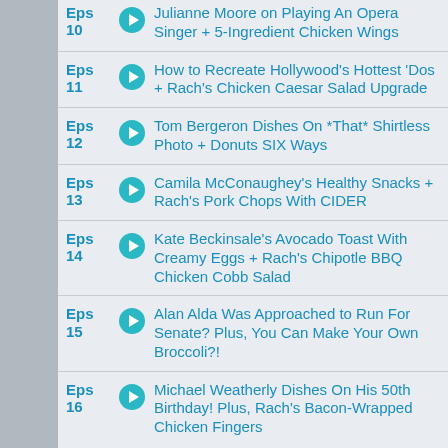Eps 10 - Julianne Moore on Playing An Opera Singer + 5-Ingredient Chicken Wings
Eps 11 - How to Recreate Hollywood's Hottest 'Dos + Rach's Chicken Caesar Salad Upgrade
Eps 12 - Tom Bergeron Dishes On *That* Shirtless Photo + Donuts SIX Ways
Eps 13 - Camila McConaughey's Healthy Snacks + Rach's Pork Chops With CIDER
Eps 14 - Kate Beckinsale's Avocado Toast With Creamy Eggs + Rach's Chipotle BBQ Chicken Cobb Salad
Eps 15 - Alan Alda Was Approached to Run For Senate? Plus, You Can Make Your Own Broccoli?!
Eps 16 - Michael Weatherly Dishes On His 50th Birthday! Plus, Rach's Bacon-Wrapped Chicken Fingers